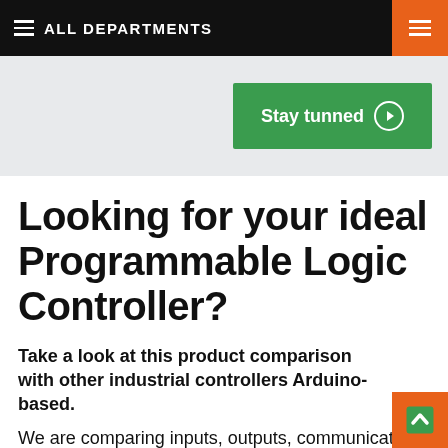ALL DEPARTMENTS
[Figure (screenshot): Green 'Stay tunned' button with right-arrow circle icon on gray background banner]
Looking for your ideal Programmable Logic Controller?
Take a look at this product comparison with other industrial controllers Arduino-based.
We are comparing inputs, outputs, communications and other features with the ones of the relevant brands.